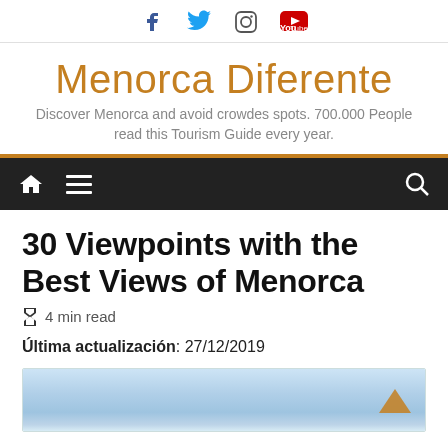Social icons: Facebook, Twitter, Instagram, YouTube
Menorca Diferente
Discover Menorca and avoid crowdes spots. 700.000 People read this Tourism Guide every year.
30 Viewpoints with the Best Views of Menorca
4 min read
Última actualización: 27/12/2019
[Figure (photo): Aerial or wide landscape photo of Menorca coastline with sky and clouds]